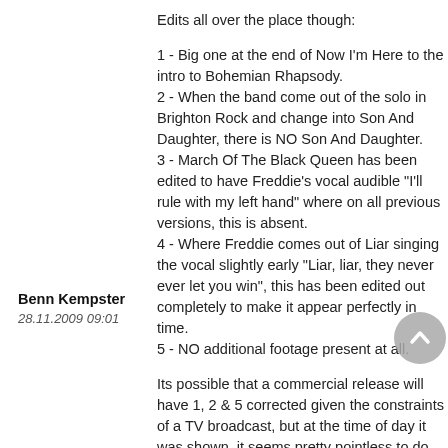Benn Kempster
28.11.2009 09:01
Edits all over the place though:
1 - Big one at the end of Now I'm Here to the intro to Bohemian Rhapsody.
2 - When the band come out of the solo in Brighton Rock and change into Son And Daughter, there is NO Son And Daughter.
3 - March Of The Black Queen has been edited to have Freddie's vocal audible "I'll rule with my left hand" where on all previous versions, this is absent.
4 - Where Freddie comes out of Liar singing the vocal slightly early "Liar, liar, they never ever let you win", this has been edited out completely to make it appear perfectly in time.
5 - NO additional footage present at all.
Its possible that a commercial release will have 1, 2 & 5 corrected given the constraints of a TV broadcast, but at the time of day it was shown, it seems pretty pointless to do